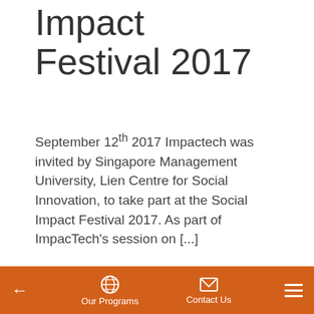Impact Festival 2017
September 12th 2017 Impactech was invited by Singapore Management University, Lien Centre for Social Innovation, to take part at the Social Impact Festival 2017. As part of ImpacTech's session on [...]
Read more
[Figure (photo): Interior ceiling photo showing industrial lighting fixtures against a dark ceiling structure]
← Our Programs  Contact Us  ☰